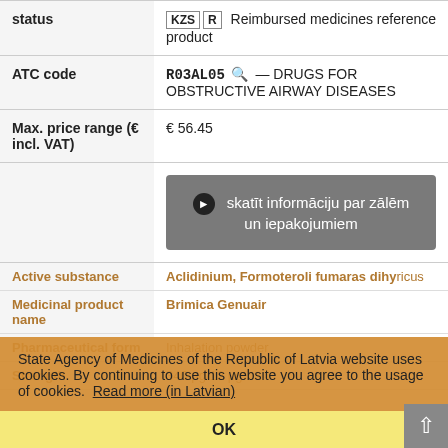| Field | Value |
| --- | --- |
| status | KZS R  Reimbursed medicines reference product |
| ATC code | R03AL05 — DRUGS FOR OBSTRUCTIVE AIRWAY DISEASES |
| Max. price range (€ incl. VAT) | € 56.45 |
|  | skatīt informāciju par zālēm un iepakojumiem |
| Active substance | Aclidinium, Formoteroli fumaras dihydricus |
| Medicinal product name | Brimica Genuair |
| Pharmaceutical form | Inhalation powder |
| Strength | 340 μg/12 μg |
State Agency of Medicines of the Republic of Latvia website uses cookies. By continuing to use this website you agree to the usage of cookies. Read more (in Latvian)
OK